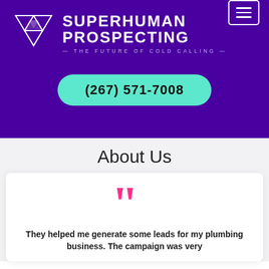[Figure (logo): Superhuman Prospecting logo with triangles icon and tagline 'THE FUTURE OF COLD CALLING']
(267) 571-7008
About Us
[Figure (illustration): Large pink closing quotation marks icon]
They helped me generate some leads for my plumbing business. The campaign was very